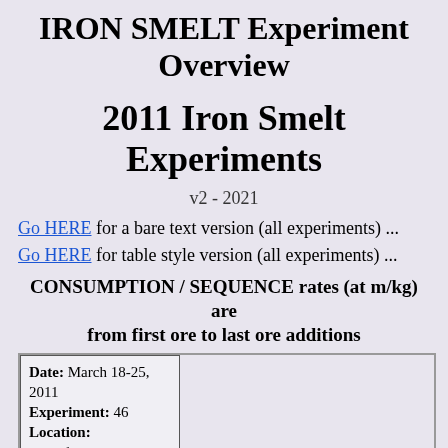IRON SMELT Experiment Overview
2011 Iron Smelt Experiments
v2 - 2021
Go HERE for a bare text version (all experiments) ...
Go HERE for table style version (all experiments) ...
CONSUMPTION / SEQUENCE rates (at m/kg) are from first ore to last ore additions
| Date: March 18-25, 2011
Experiment: 46
Location: Smeltfest 11, Lexington VA
Team: Lee |  |